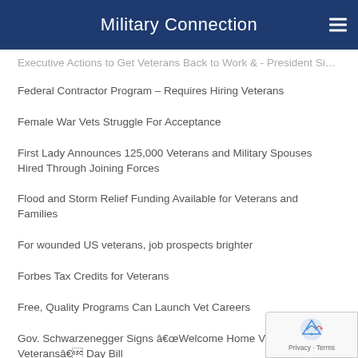Military Connection
Executive Actions to Get Veterans Back to Work &amp; - President Signs to Help Veterans and Wounded
Federal Contractor Program – Requires Hiring Veterans
Female War Vets Struggle For Acceptance
First Lady Announces 125,000 Veterans and Military Spouses Hired Through Joining Forces
Flood and Storm Relief Funding Available for Veterans and Families
For wounded US veterans, job prospects brighter
Forbes Tax Credits for Veterans
Free, Quality Programs Can Launch Vet Careers
Gov. Schwarzenegger Signs â€œWelcome Home Vietnam Veteransâ€ Day Bill
Government Jobs for Veterans | Veteran Government Resource – Military Connection